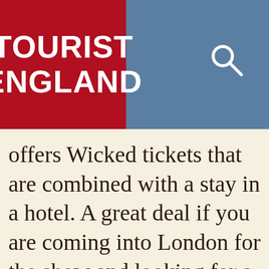[Figure (logo): Tourist England website header with red logo box containing white bold text 'TOURIST ENGLAND' on a slate blue background, with a white search icon (magnifying glass) on the right]
offers Wicked tickets that are combined with a stay in a hotel. A great deal if you are coming into London for the show and looking for a low-cost weekend or weekday breaks. Hotels of various different levels are available, combined with theatre tickets.